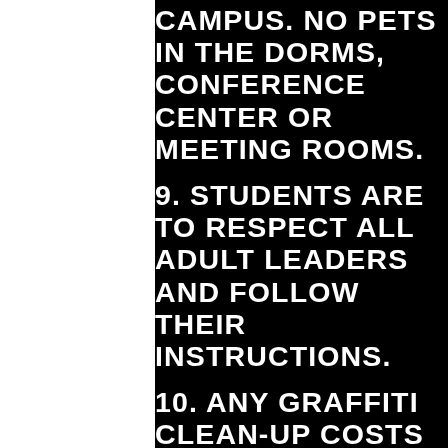CAMPUS. NO PETS IN THE DORMS, CONFERENCE CENTER OR MEETING ROOMS.
9. STUDENTS ARE TO RESPECT ALL ADULT LEADERS AND FOLLOW THEIR INSTRUCTIONS.
10. ANY GRAFFITI CLEAN-UP COSTS WILL BE CHARGED TO THE